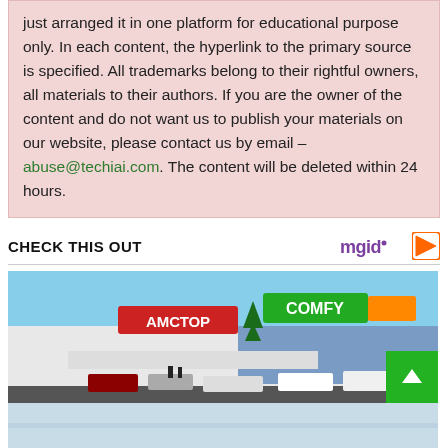just arranged it in one platform for educational purpose only. In each content, the hyperlink to the primary source is specified. All trademarks belong to their rightful owners, all materials to their authors. If you are the owner of the content and do not want us to publish your materials on our website, please contact us by email – abuse@techiai.com. The content will be deleted within 24 hours.
CHECK THIS OUT
[Figure (photo): Exterior photo of a large retail shopping center with signs reading АМСТОР and COMFY, a Christmas tree near the entrance, parked cars in the foreground, blue sky background.]
[Figure (photo): Partial view of another image below, appears to be a building or outdoor scene, partially cut off at bottom of page.]